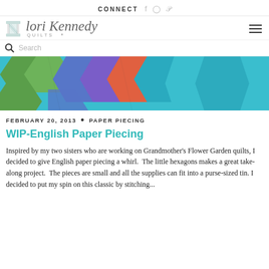CONNECT
[Figure (logo): Lori Kennedy Quilts logo with spool icon and script text]
Search
[Figure (photo): Close-up photo of colorful hexagon fabric pieces in green, blue, purple, orange, and teal for English paper piecing quilt]
FEBRUARY 20, 2013 • PAPER PIECING
WIP-English Paper Piecing
Inspired by my two sisters who are working on Grandmother's Flower Garden quilts, I decided to give English paper piecing a whirl.  The little hexagons makes a great take-along project.  The pieces are small and all the supplies can fit into a purse-sized tin. I decided to put my spin on this classic by stitching...